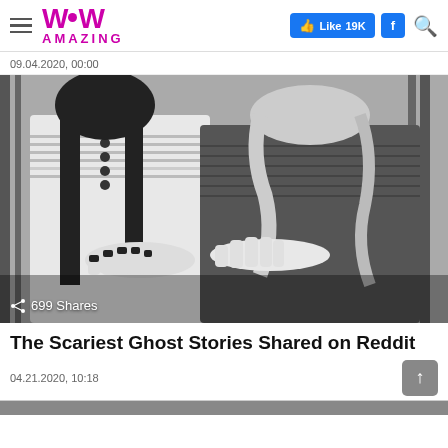WoW Amazing — Like 19K | f | search
09.04.2020, 00:00
[Figure (illustration): Black and white illustration of two figures — one in a patterned dress with long dark hair, another with long wavy hair in a dark cardigan — their hands touching or clasped together in a horror-style manga/comic art style.]
699 Shares
The Scariest Ghost Stories Shared on Reddit
04.21.2020, 10:18